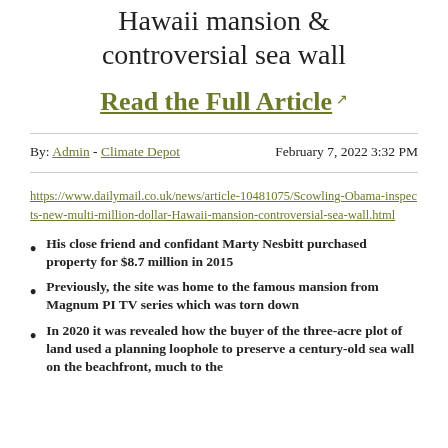Hawaii mansion & controversial sea wall
Read the Full Article ↗
By: Admin - Climate Depot    February 7, 2022 3:32 PM
https://www.dailymail.co.uk/news/article-10481075/Scowling-Obama-inspects-new-multi-million-dollar-Hawaii-mansion-controversial-sea-wall.html
His close friend and confidant Marty Nesbitt purchased property for $8.7 million in 2015
Previously, the site was home to the famous mansion from Magnum PI TV series which was torn down
In 2020 it was revealed how the buyer of the three-acre plot of land used a planning loophole to preserve a century-old sea wall on the beachfront, much to the